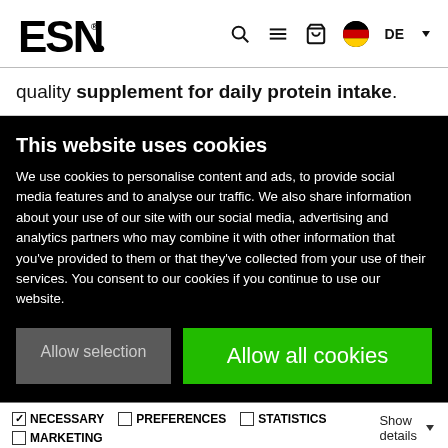ESN logo with navigation icons: search, menu, cart, DE language selector
quality supplement for daily protein intake.
This website uses cookies
We use cookies to personalise content and ads, to provide social media features and to analyse our traffic. We also share information about your use of our site with our social media, advertising and analytics partners who may combine it with other information that you've provided to them or that they've collected from your use of their services. You consent to our cookies if you continue to use our website.
Allow selection | Allow all cookies
NECESSARY | PREFERENCES | STATISTICS | MARKETING | Show details